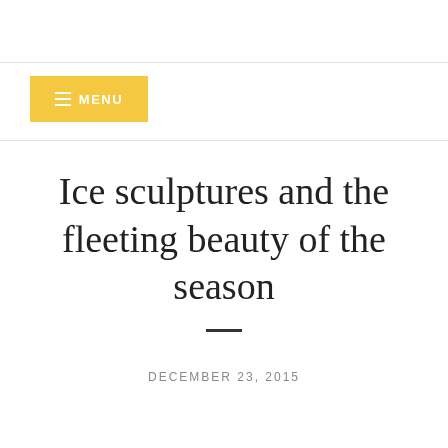[Figure (screenshot): Yellow menu button with hamburger icon and MENU text]
Ice sculptures and the fleeting beauty of the season
DECEMBER 23, 2015